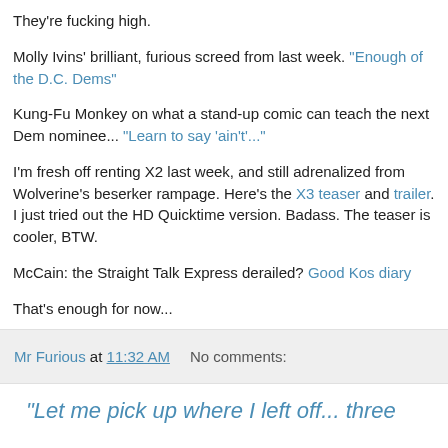They're fucking high.
Molly Ivins' brilliant, furious screed from last week. "Enough of the D.C. Dems"
Kung-Fu Monkey on what a stand-up comic can teach the next Dem nominee... "Learn to say 'ain't'..."
I'm fresh off renting X2 last week, and still adrenalized from Wolverine's beserker rampage. Here's the X3 teaser and trailer. I just tried out the HD Quicktime version. Badass. The teaser is cooler, BTW.
McCain: the Straight Talk Express derailed? Good Kos diary
That's enough for now...
Mr Furious at 11:32 AM   No comments:
"Let me pick up where I left off... three